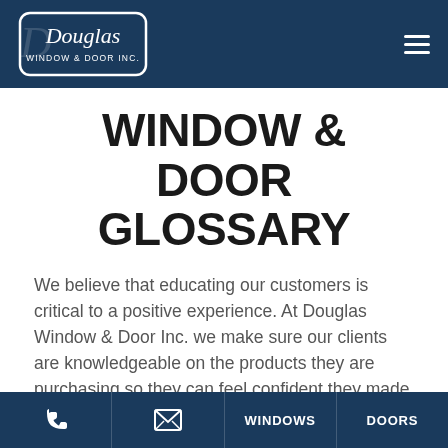Douglas Window & Door Inc. — logo and navigation header
WINDOW & DOOR GLOSSARY
We believe that educating our customers is critical to a positive experience. At Douglas Window & Door Inc. we make sure our clients are knowledgeable on the products they are purchasing so they can feel confident they made the right choice for their home. We make your next
Phone | Email | WINDOWS | DOORS